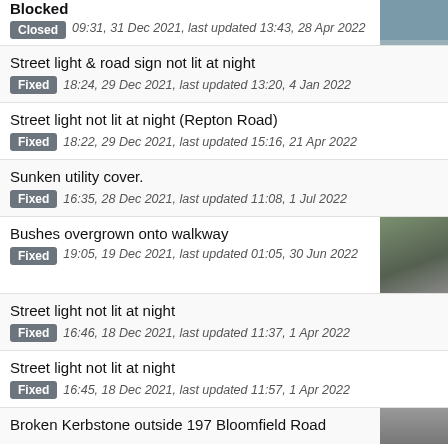Blocked
Closed 09:31, 31 Dec 2021, last updated 13:43, 28 Apr 2022
Street light & road sign not lit at night
Fixed 18:24, 29 Dec 2021, last updated 13:20, 4 Jan 2022
Street light not lit at night (Repton Road)
Fixed 18:22, 29 Dec 2021, last updated 15:16, 21 Apr 2022
Sunken utility cover.
Fixed 16:35, 28 Dec 2021, last updated 11:08, 1 Jul 2022
Bushes overgrown onto walkway
Fixed 19:05, 19 Dec 2021, last updated 01:05, 30 Jun 2022
Street light not lit at night
Fixed 16:46, 18 Dec 2021, last updated 11:37, 1 Apr 2022
Street light not lit at night
Fixed 16:45, 18 Dec 2021, last updated 11:57, 1 Apr 2022
Broken Kerbstone outside 197 Bloomfield Road